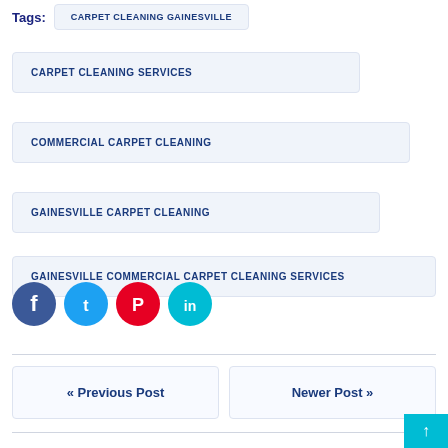CARPET CLEANING GAINESVILLE
CARPET CLEANING SERVICES
COMMERCIAL CARPET CLEANING
GAINESVILLE CARPET CLEANING
GAINESVILLE COMMERCIAL CARPET CLEANING SERVICES
[Figure (infographic): Social media share icons: Facebook (dark blue), Twitter (light blue), Pinterest (pink/red), LinkedIn (cyan)]
« Previous Post
Newer Post »